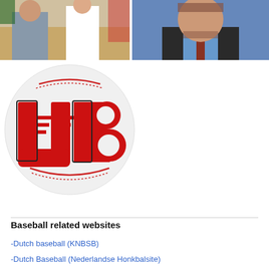[Figure (photo): Two people sitting at a table, sports memorabilia in background]
[Figure (photo): Man in dark suit with blue shirt and tie, headshot/portrait]
[Figure (logo): UB baseball logo - red letters UB on a baseball with stitching]
Baseball related websites
-Dutch baseball (KNBSB)
-Dutch Baseball (Nederlandse Honkbalsite)